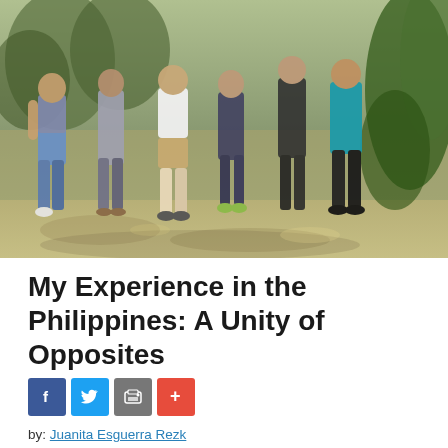[Figure (photo): Group photo of several people standing outdoors, with greenery/plants visible on the right side and dappled sunlight, taken in the Philippines.]
My Experience in the Philippines: A Unity of Opposites
[Figure (other): Social sharing buttons: Facebook (blue), Twitter (light blue), print/share (gray), plus/add (red)]
by: Juanita Esguerra Rezk